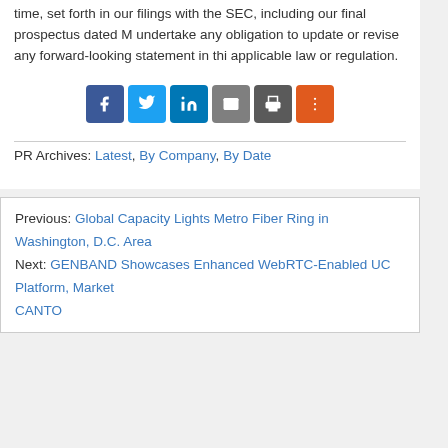time, set forth in our filings with the SEC, including our final prospectus dated M… undertake any obligation to update or revise any forward-looking statement in thi… applicable law or regulation.
[Figure (other): Social sharing buttons: Facebook, Twitter, LinkedIn, Email, Print, More]
PR Archives: Latest, By Company, By Date
Previous: Global Capacity Lights Metro Fiber Ring in Washington, D.C. Area
Next: GENBAND Showcases Enhanced WebRTC-Enabled UC Platform, Market… CANTO